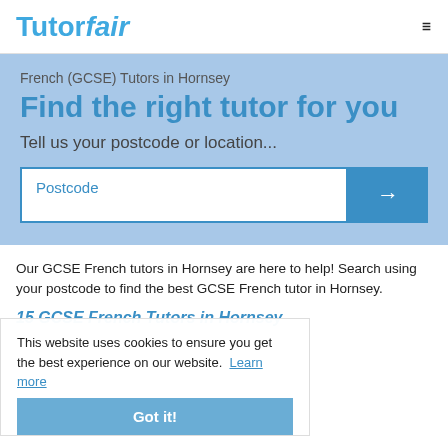Tutorfair
French (GCSE) Tutors in Hornsey
Find the right tutor for you
Tell us your postcode or location...
Our GCSE French tutors in Hornsey are here to help! Search using your postcode to find the best GCSE French tutor in Hornsey.
This website uses cookies to ensure you get the best experience on our website. Learn more
15 GCSE French Tutors in Hornsey
Kevin W